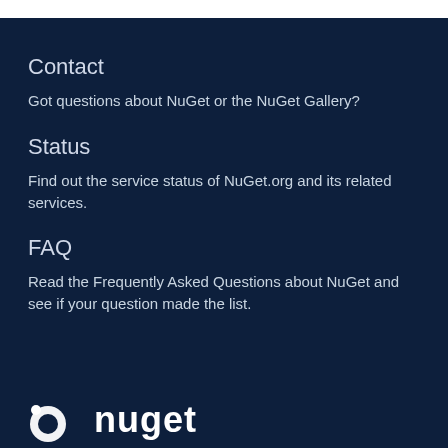Contact
Got questions about NuGet or the NuGet Gallery?
Status
Find out the service status of NuGet.org and its related services.
FAQ
Read the Frequently Asked Questions about NuGet and see if your question made the list.
[Figure (logo): NuGet logo — circular icon with dot and curved shape, followed by the text 'nuget' in white lowercase letters]